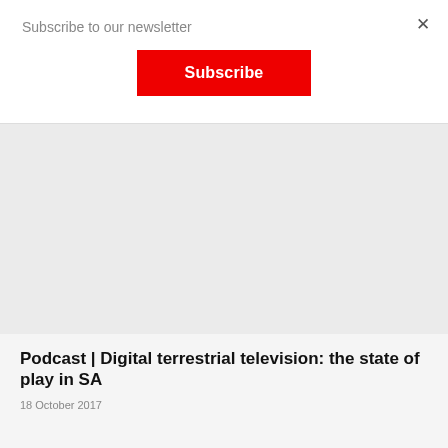Subscribe to our newsletter
Subscribe
[Figure (other): Gray placeholder image area for article thumbnail]
Podcast | Digital terrestrial television: the state of play in SA
18 October 2017